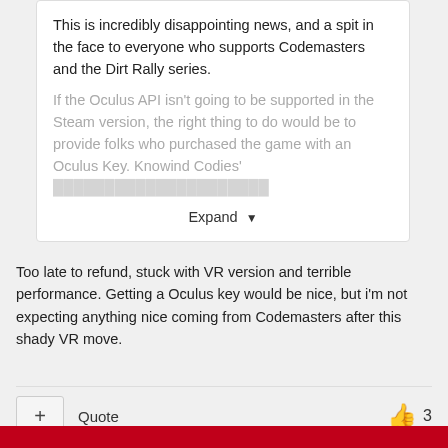This is incredibly disappointing news, and a spit in the face to everyone who supports Codemasters and the Dirt Rally series.

If the Oculus API isn't going to be supported in the Steam version, the right thing to do would be to provide folks who purchased the game with an Oculus Key. Knowind Codies' [faded/truncated]
Expand ▾
Too late to refund, stuck with VR version and terrible performance. Getting a Oculus key would be nice, but i'm not expecting anything nice coming from Codemasters after this shady VR move.
+ Quote  👍 3